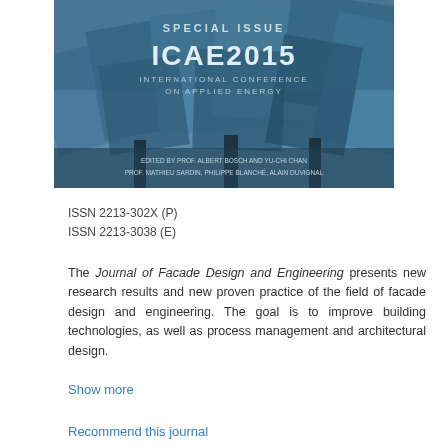[Figure (illustration): Journal cover image for ICAE2015 Special Issue - International Conference on Applied Energy, showing a blue-toned architectural facade design with overlapping panels. Text reads SPECIAL ISSUE ICAE2015 INTERNATIONAL CONFERENCE ON APPLIED ENERGY with editor names listed at bottom.]
ISSN 2213-302X (P)
ISSN 2213-3038 (E)
The Journal of Facade Design and Engineering presents new research results and new proven practice of the field of facade design and engineering. The goal is to improve building technologies, as well as process management and architectural design.
Show more
Recommend this journal